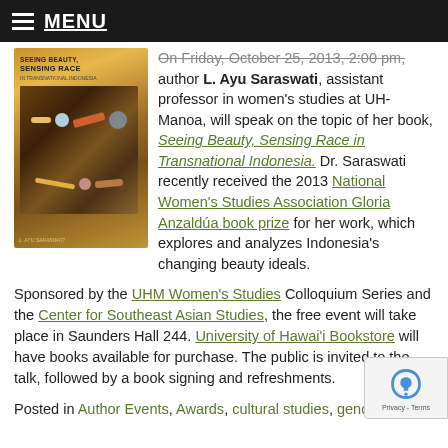MENU
[Figure (photo): Book cover of 'Seeing Beauty, Sensing Race in Transnational Indonesia' by L. Ayu Saraswati, with decorative items like jewelry and cosmetics on a warm-toned background.]
On Friday, October 25, 2013, 2:00 pm, author L. Ayu Saraswati, assistant professor in women's studies at UH-Manoa, will speak on the topic of her book, Seeing Beauty, Sensing Race in Transnational Indonesia. Dr. Saraswati recently received the 2013 National Women's Studies Association Gloria Anzaldúa book prize for her work, which explores and analyzes Indonesia's changing beauty ideals.
Sponsored by the UHM Women's Studies Colloquium Series and the Center for Southeast Asian Studies, the free event will take place in Saunders Hall 244. University of Hawai'i Bookstore will have books available for purchase. The public is invited to the talk, followed by a book signing and refreshments.
Posted in Author Events, Awards, cultural studies, gender